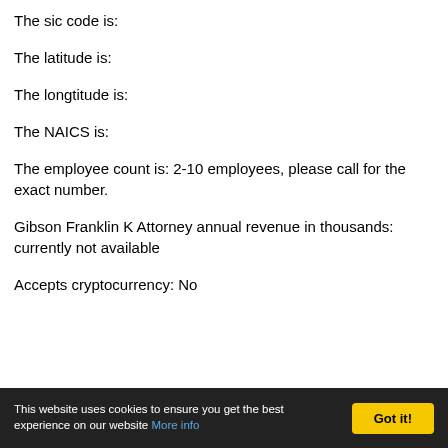The sic code is:
The latitude is:
The longtitude is:
The NAICS is:
The employee count is: 2-10 employees, please call for the exact number.
Gibson Franklin K Attorney annual revenue in thousands: currently not available
Accepts cryptocurrency: No
This website uses cookies to ensure you get the best experience on our website More info  Got it!